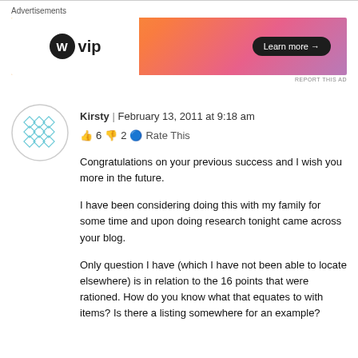Advertisements
[Figure (screenshot): WordPress VIP advertisement banner with orange/pink gradient and 'Learn more →' button]
REPORT THIS AD
Kirsty | February 13, 2011 at 9:18 am
👍 6 👎 2 ℹ Rate This
Congratulations on your previous success and I wish you more in the future.

I have been considering doing this with my family for some time and upon doing research tonight came across your blog.

Only question I have (which I have not been able to locate elsewhere) is in relation to the 16 points that were rationed. How do you know what that equates to with items? Is there a listing somewhere for an example?